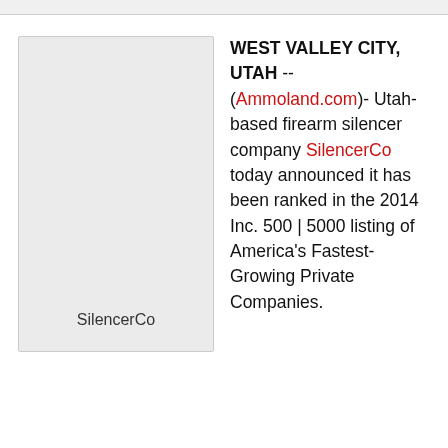[Figure (illustration): A light gray placeholder image box with the text 'SilencerCo' at the bottom center.]
WEST VALLEY CITY, UTAH -- (Ammoland.com)- Utah-based firearm silencer company SilencerCo today announced it has been ranked in the 2014 Inc. 500 | 5000 listing of America's Fastest-Growing Private Companies.